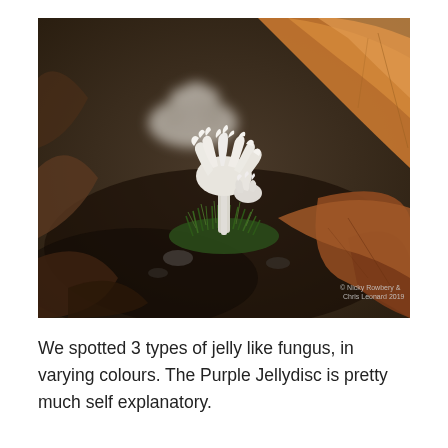[Figure (photo): Close-up nature photograph of white coral-like fungi growing among green moss on a forest floor, surrounded by brown autumn leaves. A blurred white fungal cluster is visible in the background. Photo credit: © Nicky Rowbery & Chris Leonard 2019.]
We spotted 3 types of jelly like fungus, in varying colours. The Purple Jellydisc is pretty much self explanatory.